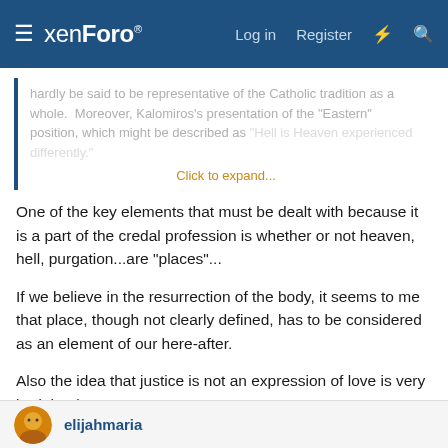xenForo | Log in | Register
hardly be said to be representative of the Catholic tradition as a whole.  Moreover, Kalomiros's presentation of the "Eastern" position, which might be described as "Hell is Heaven experienced differently." Click to expand...
One of the key elements that must be dealt with because it is a part of the credal profession is whether or not heaven, hell, purgation...are "places"...
If we believe in the resurrection of the body, it seems to me that place, though not clearly defined, has to be considered as an element of our here-after.
Also the idea that justice is not an expression of love is very bad theology.
But as you note, The River of Fire has many good lessons...if they can be filtered and distilled.
elijahmaria